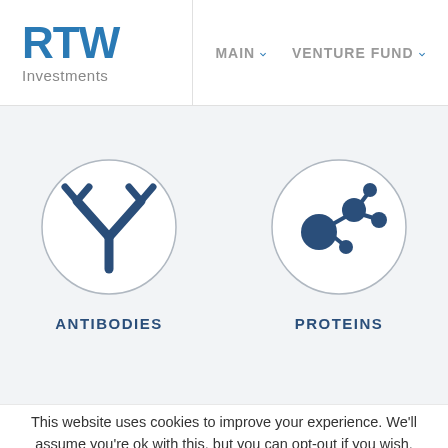[Figure (logo): RTW Investments logo with blue RTW text and gray 'Investments' subtitle]
MAIN ▾
VENTURE FUND ▾
[Figure (illustration): Two circular icons: left shows an antibody Y-shape symbol labeled ANTIBODIES; right shows a molecular/protein network symbol labeled PROTEINS]
This website uses cookies to improve your experience. We'll assume you're ok with this, but you can opt-out if you wish.
Cookie settings
ACCEPT